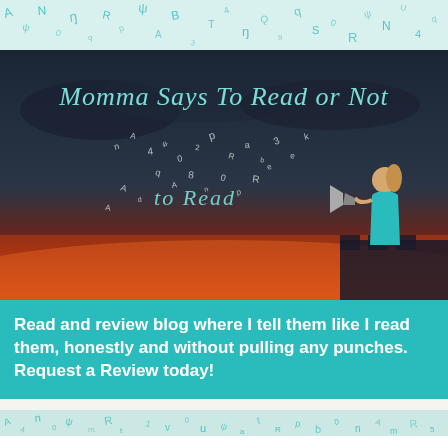[Figure (illustration): Blog header banner with title 'Momma Says To Read or Not to Read' in teal italic script, dark stormy sky background with floating letters, woman in teal dress standing on castle wall with megaphone, orange sunset below]
Read and review blog where I tell them like I read them, honestly and without pulling any punches. Request a Review today!
Home ▼
Home ▼
WEDNESDAY, JUNE 22, 2022
Eastside Witch Hunt Blitz